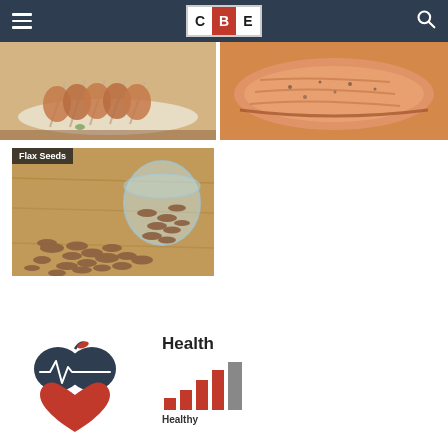CBE navigation header with hamburger menu, CBE logo, and search icon
[Figure (photo): Grilled lamb chops on a white platter]
[Figure (photo): Grilled salmon fillet with seasoning]
[Figure (photo): Flax seeds spilling from a glass jar on a wooden surface, labeled 'Flax Seeds']
[Figure (logo): Health app logo: dark navy apple shape with heartbeat line and red heart below]
[Figure (bar-chart): Bar chart icon with growing red bars and a grey bar, labeled 'Health' above and 'Healthy' below]